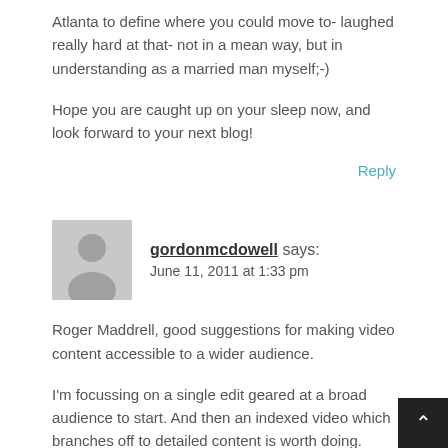Atlanta to define where you could move to- laughed really hard at that- not in a mean way, but in understanding as a married man myself;-)
Hope you are caught up on your sleep now, and look forward to your next blog!
Reply
gordonmcdowell says:
June 11, 2011 at 1:33 pm
Roger Maddrell, good suggestions for making video content accessible to a wider audience.
I'm focussing on a single edit geared at a broad audience to start. And then an indexed video which branches off to detailed content is worth doing.